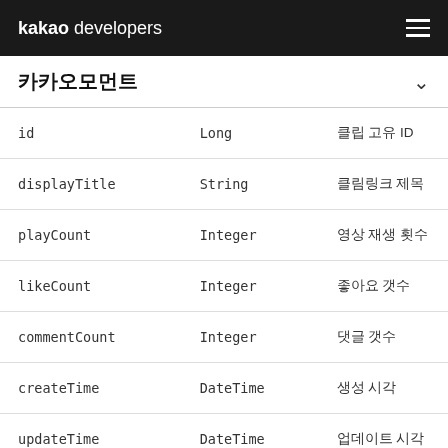kakao developers
카카오모먼트
| 필드명 | 타입 | 설명 |
| --- | --- | --- |
| id | Long | 클립 고유 ID |
| displayTitle | String | 클림링크 제목 |
| playCount | Integer | 영상 재생 횟수 |
| likeCount | Integer | 좋아요 갯수 |
| commentCount | Integer | 댓글 갯수 |
| createTime | DateTime | 생성 시각 |
| updateTime | DateTime | 업데이트 시각 |